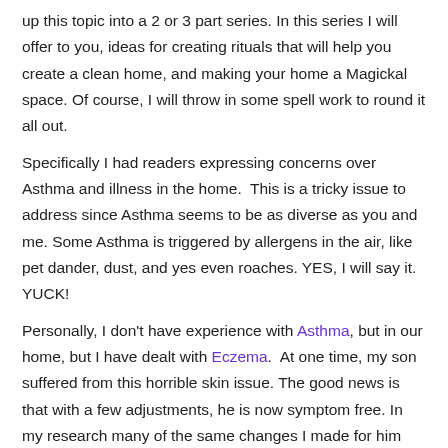up this topic into a 2 or 3 part series. In this series I will offer to you, ideas for creating rituals that will help you create a clean home, and making your home a Magickal space. Of course, I will throw in some spell work to round it all out.
Specifically I had readers expressing concerns over Asthma and illness in the home.  This is a tricky issue to address since Asthma seems to be as diverse as you and me. Some Asthma is triggered by allergens in the air, like pet dander, dust, and yes even roaches. YES, I will say it. YUCK!
Personally, I don't have experience with Asthma, but in our home, but I have dealt with Eczema.  At one time, my son suffered from this horrible skin issue. The good news is that with a few adjustments, he is now symptom free. In my research many of the same changes I made for him are also the suggested changes for families with Asthma suffers.